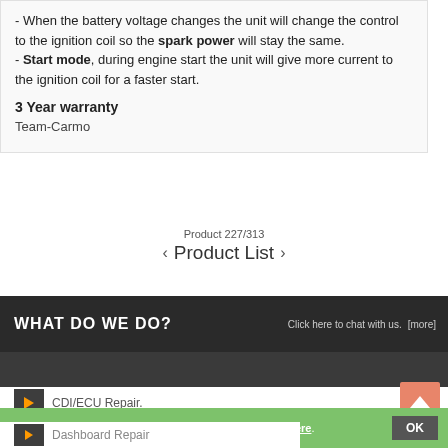- When the battery voltage changes the unit will change the control to the ignition coil so the spark power will stay the same.
- Start mode, during engine start the unit will give more current to the ignition coil for a faster start.
3 Year warranty
Team-Carmo
Product 227/313
< Product List >
WHAT DO WE DO?
Click here to chat with us. [more]
CDI/ECU Repair.
Hi, we use cookies for the operation of our site.More info here.
OK
Dashboard Repair